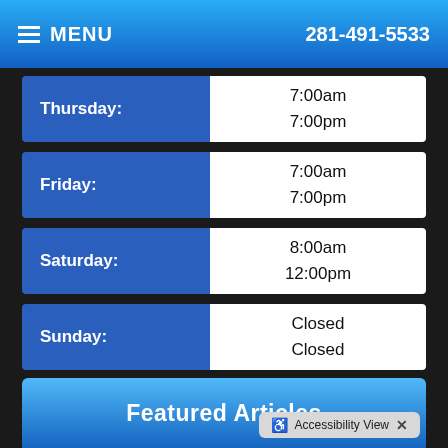MENU  281-491-5533
| Day | Open | Close |
| --- | --- | --- |
| Thursday: | 7:00am | 7:00pm |
| Friday: | 7:00am | 7:00pm |
| Saturday: | 8:00am | 12:00pm |
| Sunday: | Closed | Closed |
Featured Articles
Accessibility View